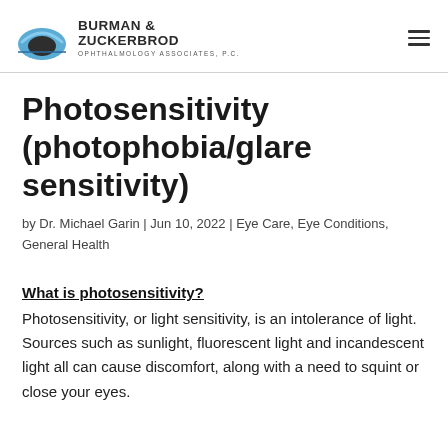Burman & Zuckerbrod Ophthalmology Associates, P.C.
Photosensitivity (photophobia/glare sensitivity)
by Dr. Michael Garin | Jun 10, 2022 | Eye Care, Eye Conditions, General Health
What is photosensitivity?
Photosensitivity, or light sensitivity, is an intolerance of light. Sources such as sunlight, fluorescent light and incandescent light all can cause discomfort, along with a need to squint or close your eyes.